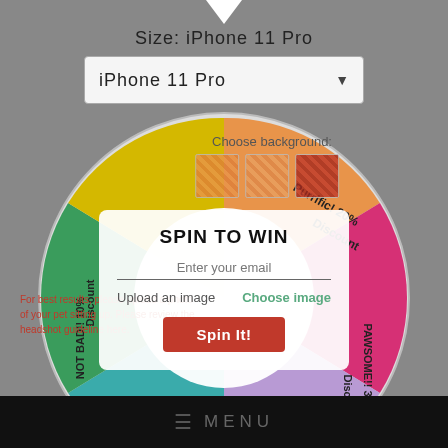[Figure (screenshot): App design screenshot showing an iPhone 11 Pro size selector dropdown, a spin-to-win prize wheel with colored segments (orange: FREE Shipping, pink: Purrific! 20% Discount, purple: PAWSOME!! 30% Discount, teal/blue: Buy One Get One FREE, green: Scoohoo! 15% Discount, yellow: NOT BAD!! 10% Discount), a modal overlay with SPIN TO WIN title, email input, upload image option, and Spin It! button, plus a bottom navigation bar with MENU label.]
Size: iPhone 11 Pro
iPhone 11 Pro
Choose background:
FREE Shipping
Purrific! 20% Discount
PAWSOME!! 30% Discount
Buy One Get One FREE
Scoohoo! 15% Discount
NOT BAD!! 10% Discount
SPIN TO WIN
Enter your email
Upload an image
Choose image
Spin It!
For best results, please upload a photo of your pet sitting up. Please review the headshot guideline here.
MENU